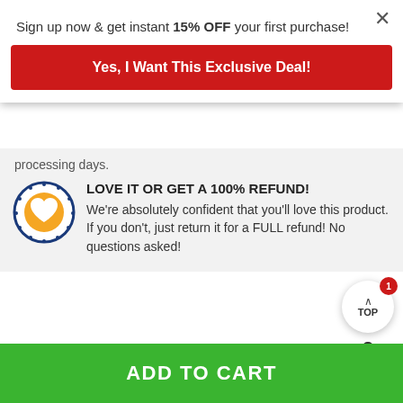Sign up now & get instant 15% OFF your first purchase!
Yes, I Want This Exclusive Deal!
processing days.
LOVE IT OR GET A 100% REFUND!
We're absolutely confident that you'll love this product. If you don't, just return it for a FULL refund! No questions asked!
Product Details
ADD TO CART